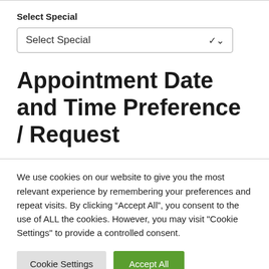Select Special
[Figure (screenshot): A dropdown/select input box labeled 'Select Special' with a downward chevron arrow on the right side.]
Appointment Date and Time Preference / Request
We use cookies on our website to give you the most relevant experience by remembering your preferences and repeat visits. By clicking “Accept All”, you consent to the use of ALL the cookies. However, you may visit "Cookie Settings" to provide a controlled consent.
Cookie Settings | Accept All